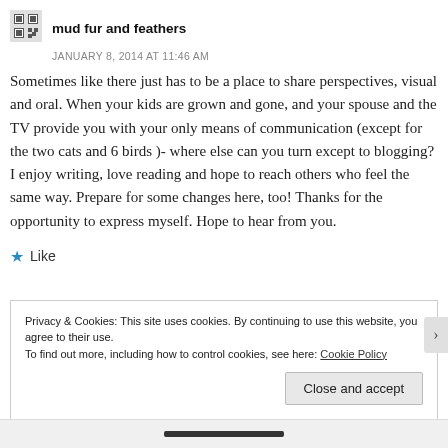[Figure (other): Small QR code / avatar icon for blog commenter]
mud fur and feathers
JANUARY 8, 2014 AT 11:46 AM
Sometimes like there just has to be a place to share perspectives, visual and oral. When your kids are grown and gone, and your spouse and the TV provide you with your only means of communication (except for the two cats and 6 birds )- where else can you turn except to blogging? I enjoy writing, love reading and hope to reach others who feel the same way. Prepare for some changes here, too! Thanks for the opportunity to express myself. Hope to hear from you.
Like
Privacy & Cookies: This site uses cookies. By continuing to use this website, you agree to their use.
To find out more, including how to control cookies, see here: Cookie Policy
Close and accept